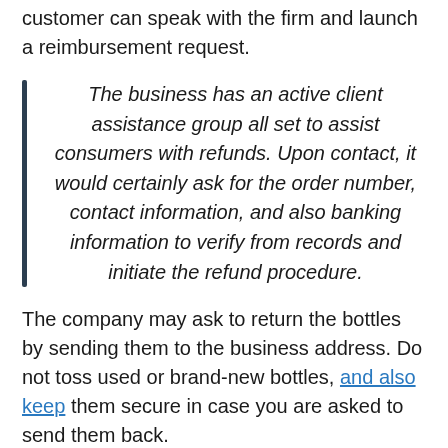customer can speak with the firm and launch a reimbursement request.
The business has an active client assistance group all set to assist consumers with refunds. Upon contact, it would certainly ask for the order number, contact information, and also banking information to verify from records and initiate the refund procedure.
The company may ask to return the bottles by sending them to the business address. Do not toss used or brand-new bottles, and also keep them secure in case you are asked to send them back.
The refund deal is just legitimate on orders bought